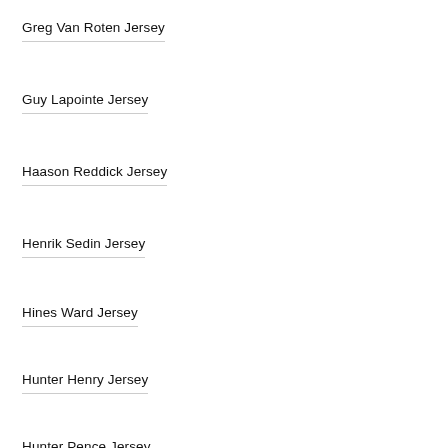Greg Van Roten Jersey
Guy Lapointe Jersey
Haason Reddick Jersey
Henrik Sedin Jersey
Hines Ward Jersey
Hunter Henry Jersey
Hunter Pence Jersey
Igor Larionov Jersey
J.T. Brown Jersey